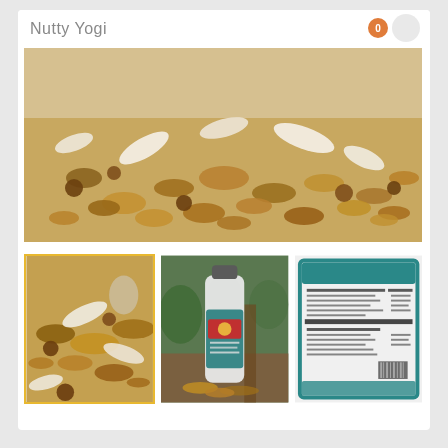Nutty Yogi
[Figure (photo): Hero banner photo of granola mix with nuts, oats, and coconut flakes scattered on a surface, close-up macrophotography]
[Figure (photo): Thumbnail 1 (selected, yellow border): Close-up of granola mix with coconut flakes spilling from a glass jar with a spoon]
[Figure (photo): Thumbnail 2: Nutty Yogi branded bottle/jar with teal label sitting on a wooden table with green plants in background]
[Figure (photo): Thumbnail 3: Nutrition facts label for Nutty Yogi product with teal border]